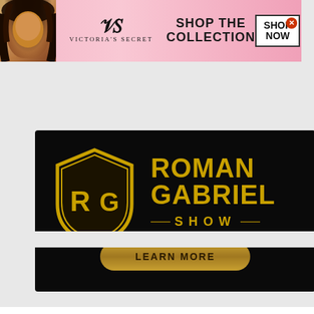[Figure (screenshot): Victoria's Secret advertisement banner with model photo, VS logo, 'SHOP THE COLLECTION' text, and 'SHOP NOW' button]
[Figure (screenshot): Roman Gabriel Show advertisement with gold shield logo, 'ROMAN GABRIEL SHOW' text in gold on black background, and 'LEARN MORE' button]
[Figure (screenshot): BitLife app advertisement with rainbow background, 'WHEN REAL LIFE IS QUARANTINED' text, BitLife logo, sperm emoji, and character emoji with mask]
[Figure (screenshot): White/gray empty page area at bottom]